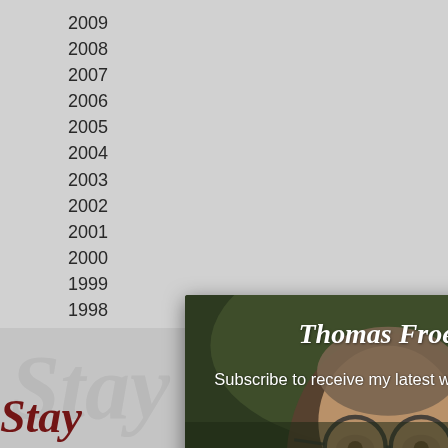2009
2008
2007
2006
2005
2004
2003
2002
2001
2000
1999
1998
1997
[Figure (photo): Subscription modal popup for Thomas Froese newsletter. Dark overlay on a photo of a middle-aged man with glasses and grey beard. Modal shows title 'Thomas Froese', subtitle 'Subscribe to receive my latest writing and news', Name field, Email field, and a red Subscribe button. A close (×) button is in the top right corner of the modal.]
Stay … mas